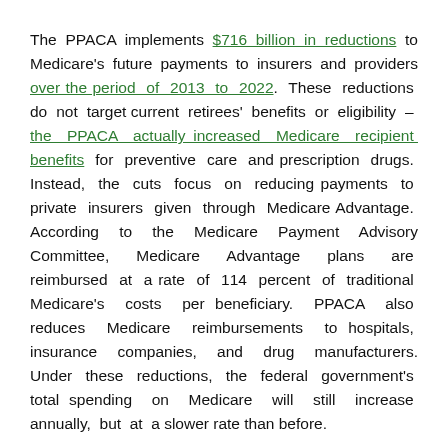The PPACA implements $716 billion in reductions to Medicare's future payments to insurers and providers over the period of 2013 to 2022. These reductions do not target current retirees' benefits or eligibility – the PPACA actually increased Medicare recipient benefits for preventive care and prescription drugs. Instead, the cuts focus on reducing payments to private insurers given through Medicare Advantage. According to the Medicare Payment Advisory Committee, Medicare Advantage plans are reimbursed at a rate of 114 percent of traditional Medicare's costs per beneficiary. PPACA also reduces Medicare reimbursements to hospitals, insurance companies, and drug manufacturers. Under these reductions, the federal government's total spending on Medicare will still increase annually, but at a slower rate than before.
While these changes do not directly affect beneficiaries, Governor Romney is correct that some providers may stop